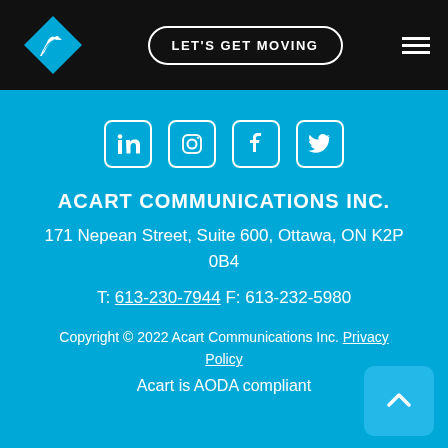[Figure (logo): Acart Communications logo: white bird inside a blue diamond shape on black background]
LET'S GET MOVING
[Figure (illustration): Hamburger menu icon (three white horizontal lines) on black background]
[Figure (illustration): Social media icons: LinkedIn, Instagram, Facebook, Twitter in white rounded square outlines]
ACART COMMUNICATIONS INC.
171 Nepean Street, Suite 600, Ottawa, ON K2P 0B4
T: 613-230-7944 F: 613-232-5980
Copyright © 2022 Acart Communications Inc. Privacy Policy
Acart is AODA compliant